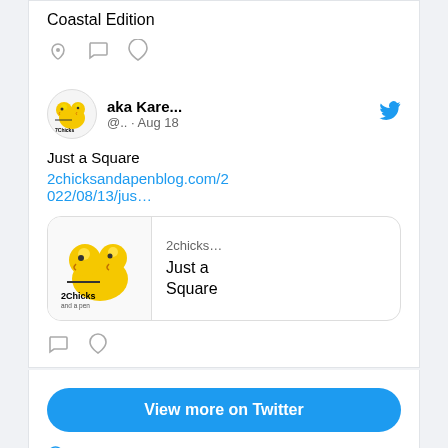Coastal Edition
[Figure (screenshot): Twitter/social media embed showing a tweet by 'aka Kare...' (@.. · Aug 18) with text 'Just a Square' and a link to 2chicksandapenblog.com/2022/08/13/jus... with a link card showing the 2Chicks and a pen logo and title 'Just a Square']
View more on Twitter
Learn more about privacy